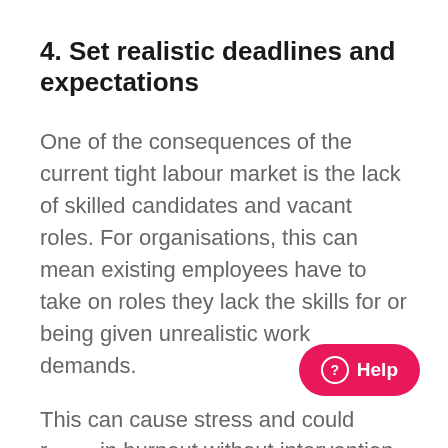4. Set realistic deadlines and expectations
One of the consequences of the current tight labour market is the lack of skilled candidates and vacant roles. For organisations, this can mean existing employees have to take on roles they lack the skills for or being given unrealistic work demands.
This can cause stress and could result in burnout without intervention. Consequently, it's a good idea to review an employee's suitability for a